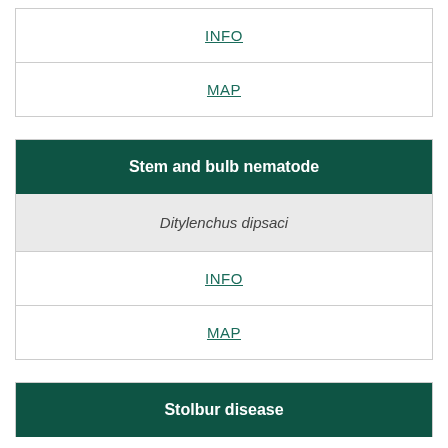INFO
MAP
Stem and bulb nematode
Ditylenchus dipsaci
INFO
MAP
Stolbur disease